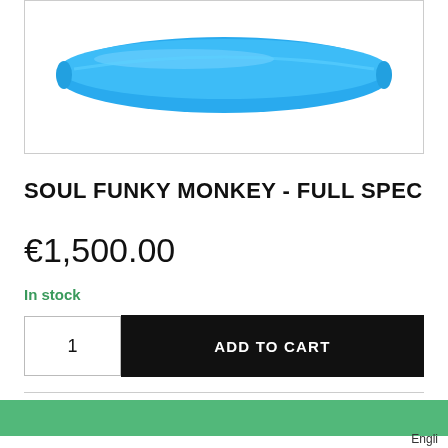[Figure (photo): Product image showing a blue kayak on a white background, partially cropped at the top.]
SOUL FUNKY MONKEY - FULL SPEC
€1,500.00
In stock
1
ADD TO CART
[Figure (other): Green horizontal bar at the bottom of the page.]
Engli